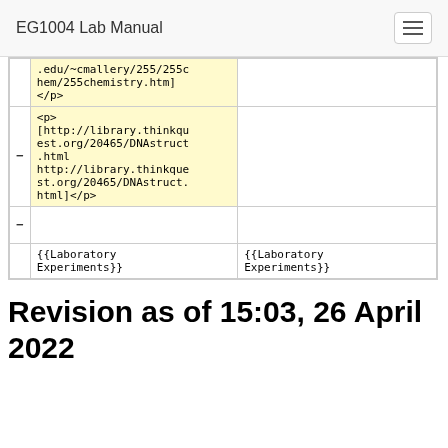EG1004 Lab Manual
| .edu/~cmallery/255/255chem/255chemistry.htm]
</p> |  |
| <p>
[http://library.thinkquest.org/20465/DNAstruct.html
http://library.thinkquest.org/20465/DNAstruct.html]</p> |  |
| - |  |
| {{Laboratory Experiments}} | {{Laboratory Experiments}} |
Revision as of 15:03, 26 April 2022